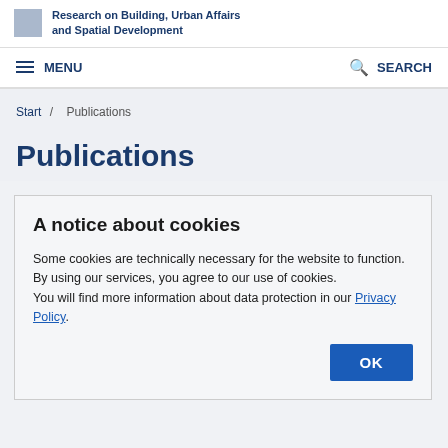Federal Institute for Research on Building, Urban Affairs and Spatial Development
MENU   SEARCH
Start / Publications
Publications
A notice about cookies
Some cookies are technically necessary for the website to function. By using our services, you agree to our use of cookies.
You will find more information about data protection in our Privacy Policy.
OK